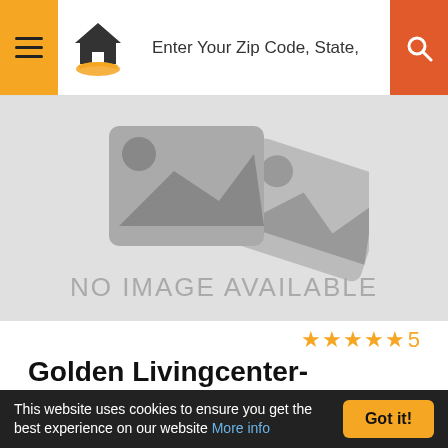Enter Your Zip Code, State,
[Figure (illustration): No image available placeholder with generic image icon and two overlapping image frames on grey background. Text reads NO IMAGE AVAILABLE.]
★★★★★ 5
Golden Livingcenter-Mcdonald County
1000 Patterson Street, Anderson, MO 64831
800-997-1342  for a local advisor
This website uses cookies to ensure you get the best experience on our website More info  Got it!